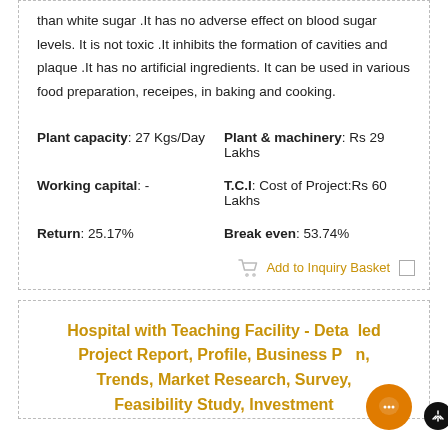than white sugar .It has no adverse effect on blood sugar levels. It is not toxic .It inhibits the formation of cavities and plaque .It has no artificial ingredients. It can be used in various food preparation, receipes, in baking and cooking.
Plant capacity: 27 Kgs/Day
Plant & machinery: Rs 29 Lakhs
Working capital: -
T.C.I: Cost of Project:Rs 60 Lakhs
Return: 25.17%
Break even: 53.74%
Add to Inquiry Basket
Hospital with Teaching Facility - Detailed Project Report, Profile, Business Plan, Trends, Market Research, Survey, Feasibility Study, Investment...